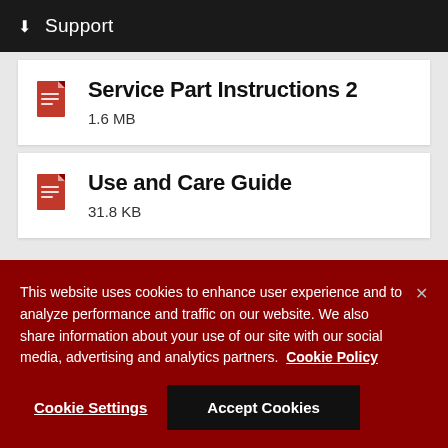Support
Service Part Instructions 2
1.6 MB
Use and Care Guide
31.8 KB
This website uses cookies to enhance user experience and to analyze performance and traffic on our website. We also share information about your use of our site with our social media, advertising and analytics partners.  Cookie Policy
Cookie Settings
Accept Cookies